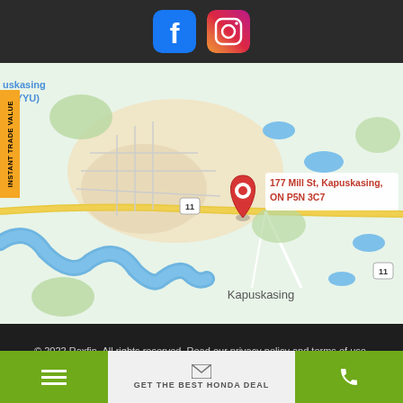[Figure (screenshot): Top dark navigation bar with Facebook and Instagram social media icons]
[Figure (map): Google Maps view showing Kapuskasing, Ontario with a red location pin at 177 Mill St, Kapuskasing, ON P5N 3C7. Map shows Highway 11, a river, and the town layout. Text labels include 'uskasing', 'rt (YYU)' (airport), and 'Kapuskasing'.]
INSTANT TRADE VALUE
© 2022 Raxfin. All rights reserved. Read our privacy policy and terms of use.
Website creation by POWER GO
[Figure (screenshot): Bottom action bar with green hamburger menu on left, email icon and 'GET THE BEST HONDA DEAL' text in center, green phone icon on right]